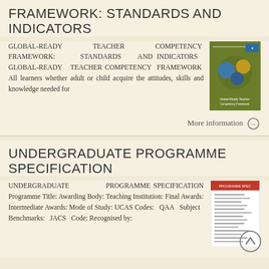FRAMEWORK: STANDARDS AND INDICATORS
GLOBAL-READY TEACHER COMPETENCY FRAMEWORK: STANDARDS AND INDICATORS GLOBAL-READY TEACHER COMPETENCY FRAMEWORK All learners whether adult or child acquire the attitudes, skills and knowledge needed for
[Figure (illustration): Book cover thumbnail: Global-Ready Teacher Competency Framework, green background with circular diagrams]
More information →
UNDERGRADUATE PROGRAMME SPECIFICATION
UNDERGRADUATE PROGRAMME SPECIFICATION Programme Title: Awarding Body: Teaching Institution: Final Awards: Intermediate Awards: Mode of Study: UCAS Codes: QAA Subject Benchmarks: JACS Code: Recognised by:
[Figure (illustration): Document thumbnail: Undergraduate Programme Specification form with red header and tabular content]
[Figure (other): Back to top button: circular arrow pointing up]